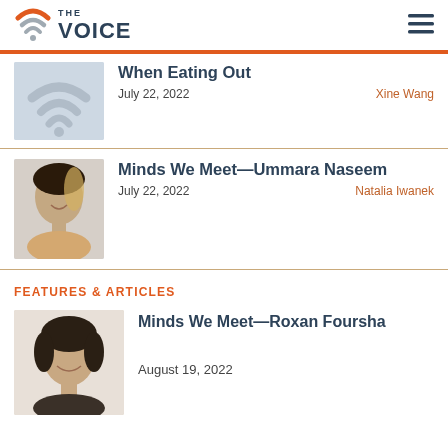THE VOICE
When Eating Out
July 22, 2022   Xine Wang
Minds We Meet—Ummara Naseem
July 22, 2022   Natalia Iwanek
FEATURES & ARTICLES
Minds We Meet—Roxan Foursha
August 19, 2022